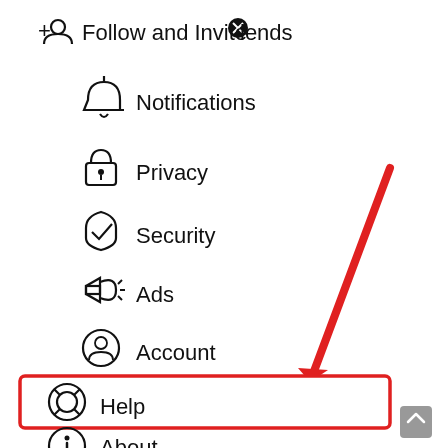[Figure (screenshot): Mobile app settings menu screenshot showing menu items: Follow and Invite Friends, Notifications, Privacy, Security, Ads, Account, Help (highlighted with red box and arrow), About, Theme. A red arrow points to the Help menu item which is enclosed in a red rectangle border.]